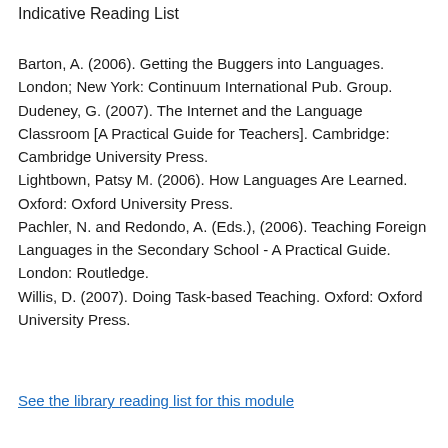Indicative Reading List
Barton, A. (2006). Getting the Buggers into Languages. London; New York: Continuum International Pub. Group.
Dudeney, G. (2007). The Internet and the Language Classroom [A Practical Guide for Teachers]. Cambridge: Cambridge University Press.
Lightbown, Patsy M. (2006). How Languages Are Learned. Oxford: Oxford University Press.
Pachler, N. and Redondo, A. (Eds.), (2006). Teaching Foreign Languages in the Secondary School - A Practical Guide. London: Routledge.
Willis, D. (2007). Doing Task-based Teaching. Oxford: Oxford University Press.
See the library reading list for this module